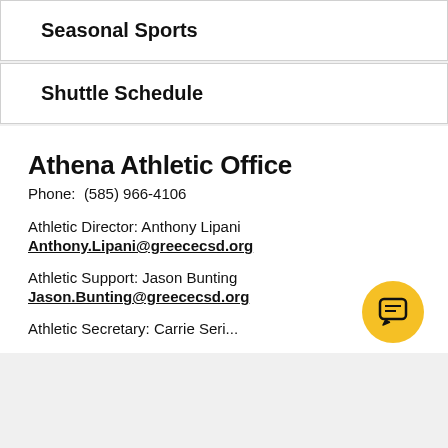Seasonal Sports
Shuttle Schedule
Athena Athletic Office
Phone:  (585) 966-4106
Athletic Director: Anthony Lipani
Anthony.Lipani@greececsd.org
Athletic Support: Jason Bunting
Jason.Bunting@greececsd.org
Athletic Secretary: Carrie Seri...